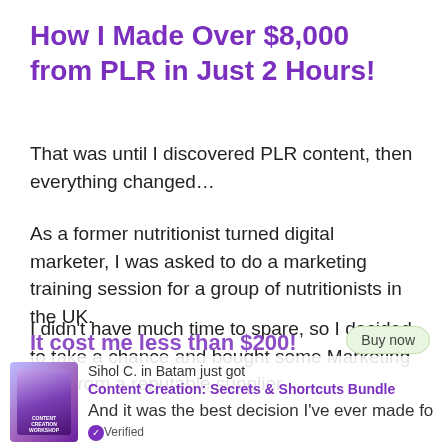How I Made Over $8,000 from PLR in Just 2 Hours!
That was until I discovered PLR content, then everything changed…
As a former nutritionist turned digital marketer, I was asked to do a marketing training session for a group of nutritionists in the UK.
I didn't have much time to spare, so I decided to take a chance and bought some Marketing PLR from a reputable supplier.
It cost me less than $200!
Sihol C. in Batam just got Content Creation: Secrets & Shortcuts Bundle
And it was the best decision I've ever made for... Verified